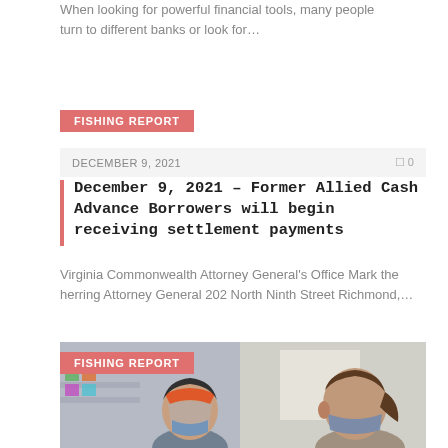When looking for powerful financial tools, many people turn to different banks or look for…
FISHING REPORT
DECEMBER 9, 2021   0
December 9, 2021 – Former Allied Cash Advance Borrowers will begin receiving settlement payments
Virginia Commonwealth Attorney General's Office Mark the herring Attorney General 202 North Ninth Street Richmond,…
FISHING REPORT
[Figure (photo): Two women wearing face masks and face shields in a store setting, one with an orange visor-style face shield, the other with a standard mask, viewed from the side.]